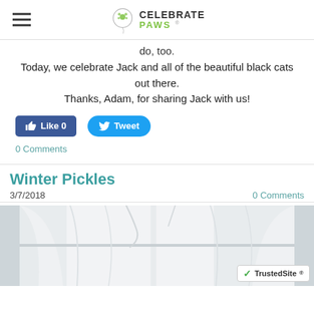Celebrate Paws
do, too.
Today, we celebrate Jack and all of the beautiful black cats out there.
Thanks, Adam, for sharing Jack with us!
[Figure (screenshot): Facebook Like button (Like 0) and Twitter Tweet button]
0 Comments
Winter Pickles
3/7/2018
0 Comments
[Figure (photo): Photo of white curtains by a window, light and airy]